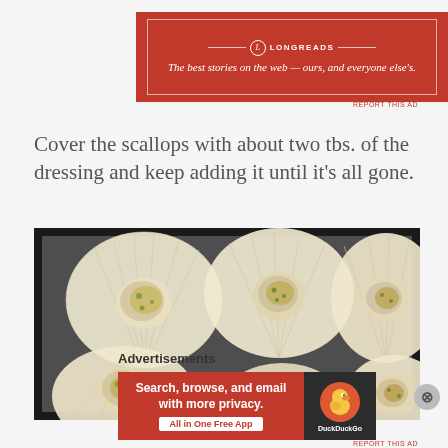[Figure (infographic): Longreads advertisement banner with red background, logo, and tagline 'The best stories on the web — ours, and everyone else's.']
REPORT THIS AD
Cover the scallops with about two tbs. of the dressing and keep adding it until it's all gone.
[Figure (photo): Top-down photo of six scallops in white shells with green herb dressing on a dark slate surface]
Advertisements
[Figure (infographic): DuckDuckGo advertisement: 'Search, browse, and email with more privacy. All in One Free App' with DuckDuckGo logo on dark background]
REPORT THIS AD